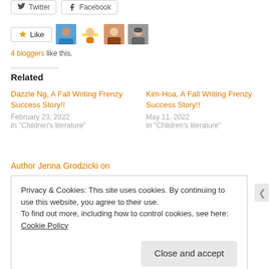[Figure (screenshot): Social share buttons: Twitter and Facebook]
[Figure (screenshot): Like button with star icon and 4 blogger avatars]
4 bloggers like this.
Related
Dazzle Ng, A Fall Writing Frenzy Success Story!!
February 23, 2022
In "Children's literature"
Kim-Hoa, A Fall Writing Frenzy Success Story!!
May 11, 2022
In "Children's literature"
Author Jenna Grodzicki on
Privacy & Cookies: This site uses cookies. By continuing to use this website, you agree to their use.
To find out more, including how to control cookies, see here: Cookie Policy
Close and accept